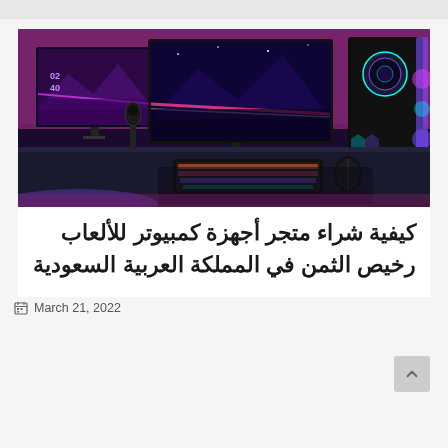[Figure (photo): Gaming PC setup with dual monitors displaying purple/blue mountain wallpaper, RGB lit PC tower on the right, mechanical keyboard with RGB lighting, and gaming accessories on a dark desk]
كيفية شراء متجر أجهزة كمبيوتر للألعاب رخيص الثمن في المملكة العربية السعودية
March 21, 2022